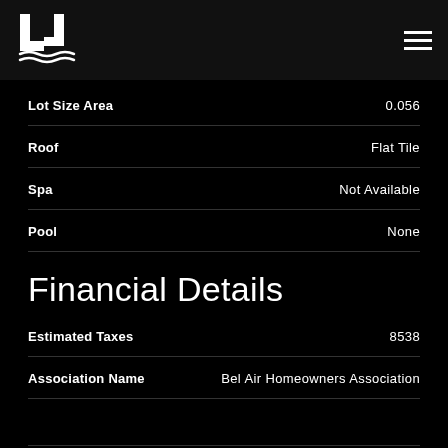[Figure (logo): LJ logo with wave design in white on dark background]
| Field | Value |
| --- | --- |
| Lot Size Area | 0.056 |
| Roof | Flat Tile |
| Spa | Not Available |
| Pool | None |
Financial Details
| Field | Value |
| --- | --- |
| Estimated Taxes | 8538 |
| Association Name | Bel Air Homeowners Association |